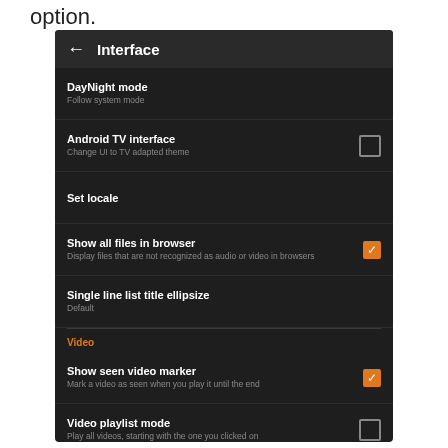option.
[Figure (screenshot): Android app Interface settings screen showing: DayNight mode (Follow system mode), Android TV interface (Change UI to TV adapted theme, unchecked), Set locale, Show all files in browser (checked, orange), Single line list title ellipsize (Default), Video section header, Show seen video marker (checked, orange), Video playlist mode (unchecked), No grid in portrait mode (unchecked)]